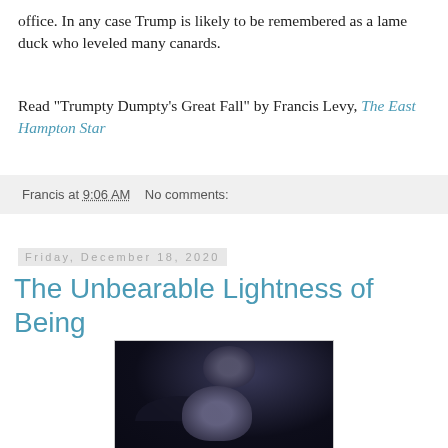office. In any case Trump is likely to be remembered as a lame duck who leveled many canards.
Read "Trumpty Dumpty's Great Fall" by Francis Levy, The East Hampton Star
Francis at 9:06 AM   No comments:
Friday, December 18, 2020
The Unbearable Lightness of Being
[Figure (photo): Dark cinematic image showing two faces — one male figure in upper area and one female figure with a wide-brimmed hat in lower area, against a very dark blue-black background, resembling a movie poster.]